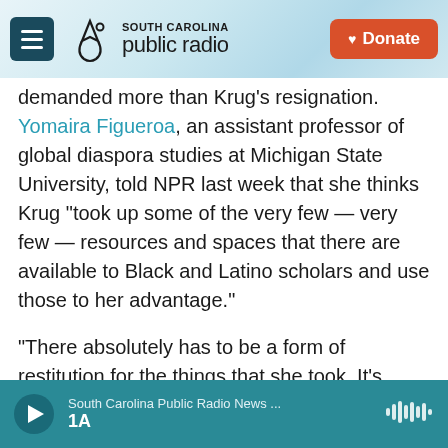[Figure (screenshot): South Carolina Public Radio website header with hamburger menu icon, SC public radio logo (palmetto tree and crescent), and orange Donate button]
demanded more than Krug's resignation. Yomaira Figueroa, an assistant professor of global diaspora studies at Michigan State University, told NPR last week that she thinks Krug "took up some of the very few — very few — resources and spaces that there are available to Black and Latino scholars and use those to her advantage."
"There absolutely has to be a form of restitution for the things that she took. It's egregious," Figueroa added.
Lisa Betty, a doctoral candidate at Fordham
[Figure (screenshot): Audio player bar with teal background showing play button, 'South Carolina Public Radio News ...' title, '1A' subtitle, and audio waveform icon]